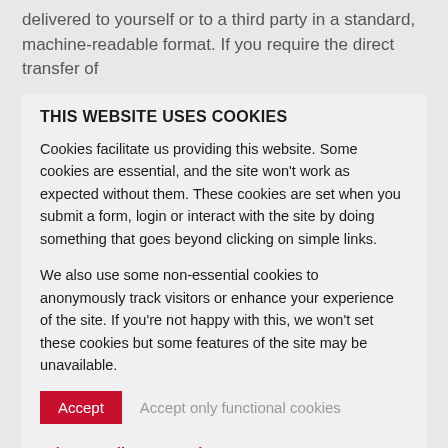delivered to yourself or to a third party in a standard, machine-readable format. If you require the direct transfer of
THIS WEBSITE USES COOKIES
Cookies facilitate us providing this website. Some cookies are essential, and the site won't work as expected without them. These cookies are set when you submit a form, login or interact with the site by doing something that goes beyond clicking on simple links.
We also use some non-essential cookies to anonymously track visitors or enhance your experience of the site. If you're not happy with this, we won't set these cookies but some features of the site may be unavailable.
Accept   Accept only functional cookies
Privacy Policy   Imprint